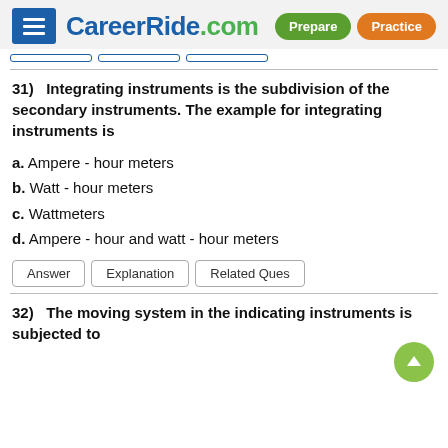CareerRide.com
31)  Integrating instruments is the subdivision of the secondary instruments. The example for integrating instruments is
a. Ampere - hour meters
b. Watt - hour meters
c. Wattmeters
d. Ampere - hour and watt - hour meters
Answer | Explanation | Related Ques
32)  The moving system in the indicating instruments is subjected to